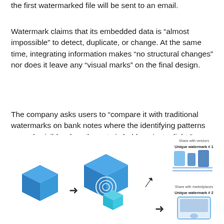the first watermarked file will be sent to an email.
Watermark claims that its embedded data is “almost impossible” to detect, duplicate, or change. At the same time, integrating information makes “no structural changes” nor does it leave any “visual marks” on the final design.
The company asks users to “compare it with traditional watermarks on bank notes where the identifying patterns are only visible when the note is held against a light.”
[Figure (infographic): Infographic showing blue 3D cube icons representing a watermarking workflow with arrows, fingerprint icon, and vendor/marketplace sharing labels with unique watermark numbers. Partially visible at the bottom of the page.]